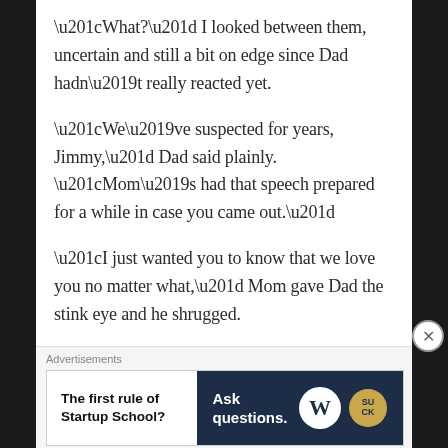“What?” I looked between them, uncertain and still a bit on edge since Dad hadn’t really reacted yet.
“We’ve suspected for years, Jimmy,” Dad said plainly. “Mom’s had that speech prepared for a while in case you came out.”
“I just wanted you to know that we love you no matter what,” Mom gave Dad the stink eye and he shrugged.
“You still the same Jimmy you been the last seventeen years?”
Advertisements
The first rule of Startup School? Ask questions.